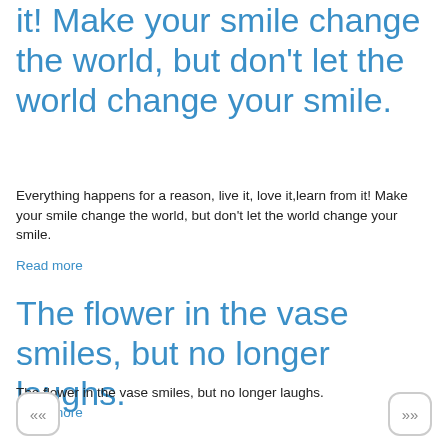it! Make your smile change the world, but don't let the world change your smile.
Everything happens for a reason, live it, love it,learn from it! Make your smile change the world, but don't let the world change your smile.
Read more
The flower in the vase smiles, but no longer laughs.
The flower in the vase smiles, but no longer laughs.
Read more